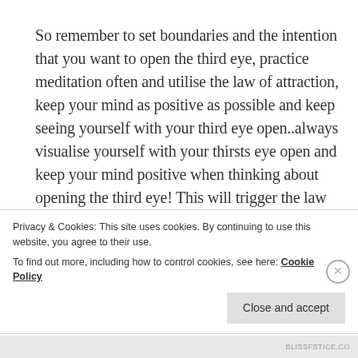So remember to set boundaries and the intention that you want to open the third eye, practice meditation often and utilise the law of attraction, keep your mind as positive as possible and keep seeing yourself with your third eye open..always visualise yourself with your thirsts eye open and keep your mind positive when thinking about opening the third eye! This will trigger the law of attraction and will speed things up, because the law of attraction states.."WHAT YOU THINK AND VISUALISE, YOU HELP MAKE THAT YOUR
Privacy & Cookies: This site uses cookies. By continuing to use this website, you agree to their use.
To find out more, including how to control cookies, see here: Cookie Policy
Close and accept
BLISSFSTICE.CO